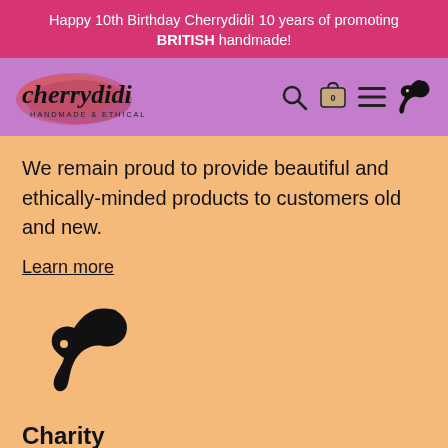Happy 10th Birthday Cherrydidi! 10 years of promoting BRITISH handmade!
[Figure (logo): Cherrydidi logo with watercolor splash background, cursive text 'cherrydidi' and subtitle 'HANDMADE & ETHICAL']
We remain proud to provide beautiful and ethically-minded products to customers old and new.
Learn more
[Figure (illustration): Black silhouette icon of a collie dog head facing left]
Charity
Cherrydidi is home to 'Zak the Collie Dog'™ We continue to celebrate his life and all it meant, to